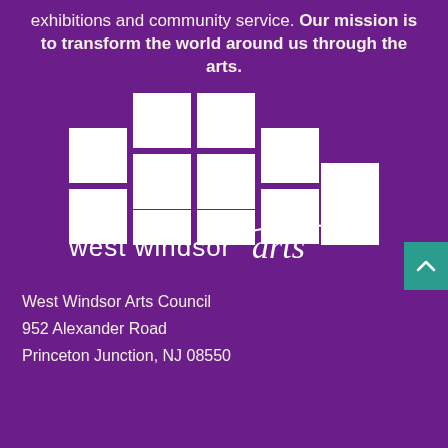exhibitions and community service. Our mission is to transform the world around us through the arts.
[Figure (logo): West Windsor Arts logo: white stepped/stacked rectangular blocks forming a pyramid shape above the text 'west windsor arts' in white, where 'arts' is in a script/cursive font]
West Windsor Arts Council
952 Alexander Road
Princeton Junction, NJ 08550